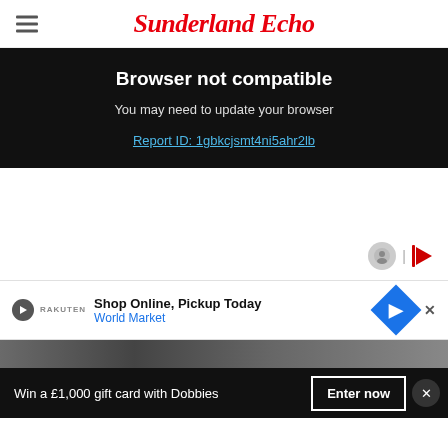Sunderland Echo
Browser not compatible
You may need to update your browser
Report ID: 1gbkcjsmt4ni5ahr2lb
[Figure (other): Ad banner: Shop Online, Pickup Today — World Market with blue diamond icon]
Win a £1,000 gift card with Dobbies
Enter now